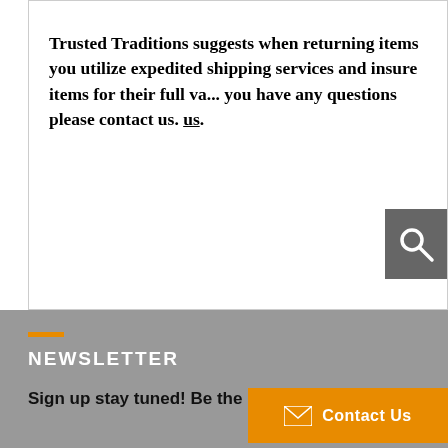Trusted Traditions suggests when returning items you utilize expedited shipping services and insure items for their full va... you have any questions please contact us. us.
[Figure (other): Search icon button — magnifying glass on dark grey background]
NEWSLETTER
Sign up stay tuned! Be the 1st to know a
[Figure (other): Contact Us button with envelope icon on orange background]